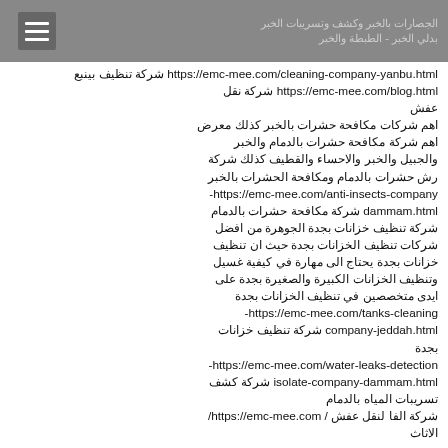الجصارات بالخبر وكشف وتسريبات الخبر بدلي الخبر - الطبطة والخبر
https://emc-mee.com/cleaning-company-yanbu.html شركة تنظيف بينبع
https://emc-mee.com/blog.html شركة نقل عفش
اهم شركات مكافحة حشرات بالخبر كذلك معرض اهم شركة مكافحة حشرات بالدمام والخبر والجبيل والخبر والاحساء والقطيف كذلك شركة رش حشرات بالدمام ومكافحة الحشرات بالخبر
https://emc-mee.com/anti-insects-company-dammam.html شركة مكافحة حشرات بالدمام
شركة تنظيف خزانات بجدة الجوهرة من افضل شركات تنظيف الخزانات بجدة حيث ان تنظيف خزانات بجدة يحتاج الى مهارة في كيفية غسيل وتنظيف الخزانات الكبيرة والصغيرة بجدة على ايدى متخصصين في تنظيف الخزانات بجدة
https://emc-mee.com/tanks-cleaning-company-jeddah.html شركة تنظيف خزانات بجدة
https://emc-mee.com/water-leaks-detection-isolate-company-dammam.html شركة كشف تسريبات المياه بالدمام
شركة الفا لنقل عفش / https://emc-mee.com/ الاثاث